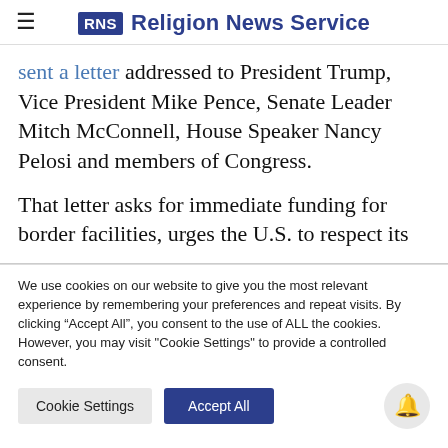RNS Religion News Service
sent a letter addressed to President Trump, Vice President Mike Pence, Senate Leader Mitch McConnell, House Speaker Nancy Pelosi and members of Congress.
That letter asks for immediate funding for border facilities, urges the U.S. to respect its
We use cookies on our website to give you the most relevant experience by remembering your preferences and repeat visits. By clicking “Accept All”, you consent to the use of ALL the cookies. However, you may visit "Cookie Settings" to provide a controlled consent.